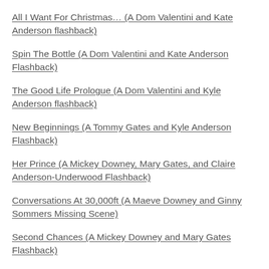All I Want For Christmas… (A Dom Valentini and Kate Anderson flashback)
Spin The Bottle (A Dom Valentini and Kate Anderson Flashback)
The Good Life Prologue (A Dom Valentini and Kyle Anderson flashback)
New Beginnings (A Tommy Gates and Kyle Anderson Flashback)
Her Prince (A Mickey Downey, Mary Gates, and Claire Anderson-Underwood Flashback)
Conversations At 30,000ft (A Maeve Downey and Ginny Sommers Missing Scene)
Second Chances (A Mickey Downey and Mary Gates Flashback)
Special Delivery (A Kiki Downey and James Hoffman Missing Lovescene)